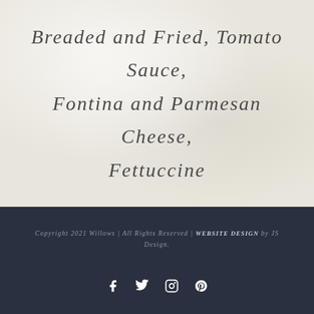Breaded and Fried, Tomato Sauce, Fontina and Parmesan Cheese, Fettuccine
Copyright 2021 Willows | All Rights Reserved | WEBSITE DESIGN BY JS DESIGN